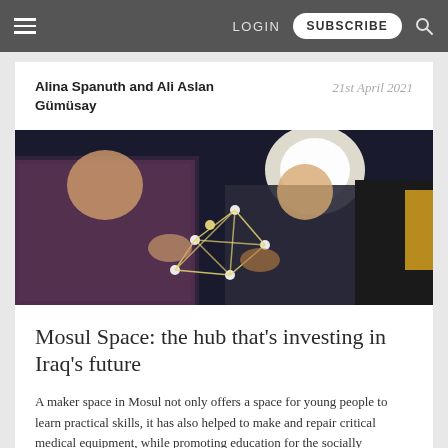LOGIN  SUBSCRIBE
Alina Spanuth and Ali Aslan Gümüsay
21st April 2021
[Figure (photo): Two people collaborating on building a geometric structure made of sticks and connectors at what appears to be a workshop or maker event. One person wears a plaid shirt, the other a suit jacket.]
Mosul Space: the hub that's investing in Iraq's future
A maker space in Mosul not only offers a space for young people to learn practical skills, it has also helped to make and repair critical medical equipment, while promoting education for the socially entrepreneurially for